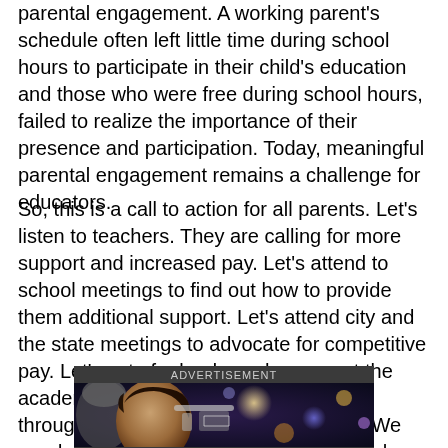parental engagement. A working parent's schedule often left little time during school hours to participate in their child's education and those who were free during school hours, failed to realize the importance of their presence and participation. Today, meaningful parental engagement remains a challenge for educators.
So, this is a call to action for all parents. Let's listen to teachers. They are calling for more support and increased pay. Let's attend to school meetings to find out how to provide them additional support. Let's attend city and the state meetings to advocate for competitive pay. Let's vote for leaders who support the academic advancement of our children through access to additional resources. We need more teacher support, not new teachers.
[Figure (photo): Advertisement banner showing a woman in a car interior with luxury vehicle lighting, dark background with purple and blue tones. Label reads ADVERTISEMENT at top.]